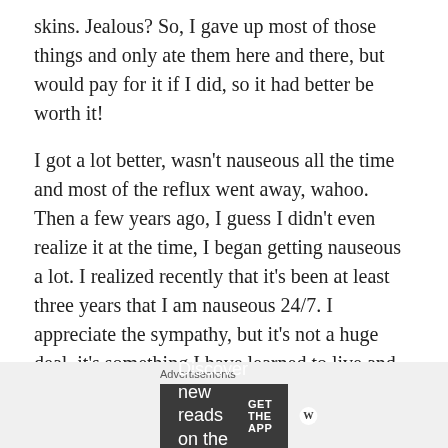skins. Jealous? So, I gave up most of those things and only ate them here and there, but would pay for it if I did, so it had better be worth it!
I got a lot better, wasn’t nauseous all the time and most of the reflux went away, wahoo. Then a few years ago, I guess I didn’t even realize it at the time, I began getting nauseous a lot. I realized recently that it’s been at least three years that I am nauseous 24/7. I appreciate the sympathy, but it’s not a huge deal, it’s something I have learned to live and deal with.
Well, a few months ago, I realized I was tired of dealing with it, so I decided to do something about it. I truly gave
Advertisements
Discover new reads on the go.
GET THE APP